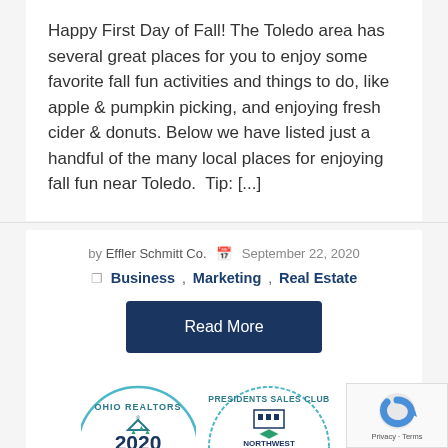Happy First Day of Fall! The Toledo area has several great places for you to enjoy some favorite fall fun activities and things to do, like apple & pumpkin picking, and enjoying fresh cider & donuts. Below we have listed just a handful of the many local places for enjoying fall fun near Toledo.  Tip: [...]
by Effler Schmitt Co.   September 22, 2020
Business , Marketing , Real Estate
Read More
[Figure (logo): Ohio Realtors 2020 badge (circular seal, partially visible)]
[Figure (logo): Presidents Sales Club Northwest Ohio Realtors 2020 badge (circular seal, partially visible)]
[Figure (other): reCAPTCHA widget in bottom right corner with Privacy and Terms links]